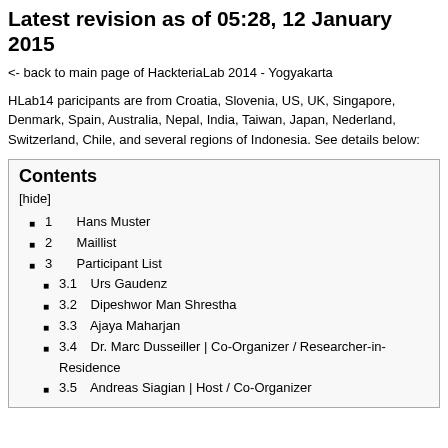Latest revision as of 05:28, 12 January 2015
<- back to main page of HackteriaLab 2014 - Yogyakarta
HLab14 paricipants are from Croatia, Slovenia, US, UK, Singapore, Denmark, Spain, Australia, Nepal, India, Taiwan, Japan, Nederland, Switzerland, Chile, and several regions of Indonesia. See details below:
Contents
[hide]
1  Hans Muster
2  Maillist
3  Participant List
3.1  Urs Gaudenz
3.2  Dipeshwor Man Shrestha
3.3  Ajaya Maharjan
3.4  Dr. Marc Dusseiller | Co-Organizer / Researcher-in-Residence
3.5  Andreas Siagian | Host / Co-Organizer